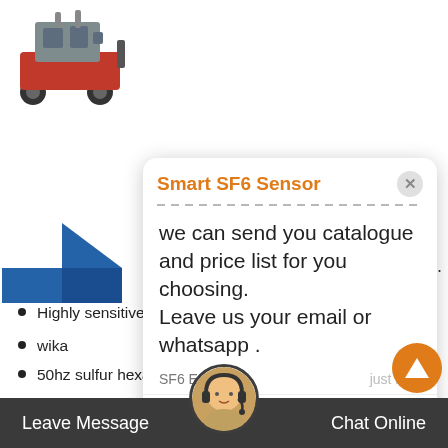[Figure (photo): Product image of a red/grey machinery unit at top left]
[Figure (logo): Blue arrow/chevron logo on left side]
itoring.
[Figure (screenshot): Chat popup titled 'Smart SF6 Sensor' with message: we can send you catalogue and price list for you choosing. Leave us your email or whatsapp. Sender: SF6 Expert, just now. Reply input bar with thumb and attach icons.]
[Figure (photo): User avatar (person icon) on left]
Re
Highly sensitive sf6 Alternatives filter in Kiribati
wika
50hz sulfur hexafluoride Storage in Oman
cheap sf6 mixture machinery in Gambia
where to buy sulfur hexafluoride sensor in Denmark
con [overlapping] sf6 valves and fittings in South Africa
Leave Message   Chat Online